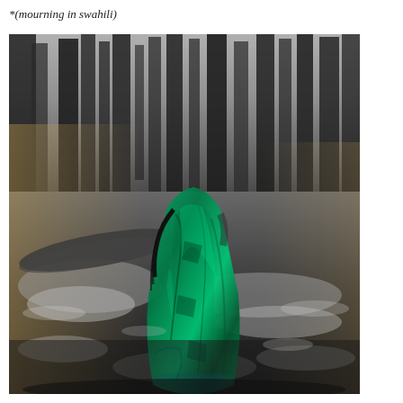*(mourning in swahili)
[Figure (photo): A black-and-white photograph of a person standing in a shallow river or wetland area in a forest, draped in a vibrant green patterned fabric/veil that covers their head and body. The background shows dark trees and dappled light on the water. The green fabric provides the only color in the otherwise monochromatic scene.]